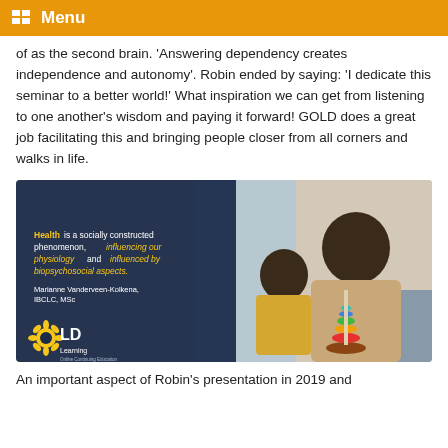Menu
of as the second brain. 'Answering dependency creates independence and autonomy'. Robin ended by saying: 'I dedicate this seminar to a better world!' What inspiration we can get from listening to one another's wisdom and paying it forward! GOLD does a great job facilitating this and bringing people closer from all corners and walks in life.
[Figure (photo): GOLD Learning promotional image showing a man and young child playing with stacking rings, with a dark blue overlay on the left containing text: 'Health is a socially constructed phenomenon, influencing our physiology and influenced by biopsychosocial aspects.' — Marianne Vanderveen-Kolkena, IBCLC, MSc. GOLD Learning logo at the bottom left.]
An important aspect of Robin's presentation in 2019 and